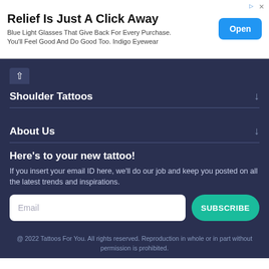[Figure (other): Advertisement banner: 'Relief Is Just A Click Away' - Blue Light Glasses That Give Back For Every Purchase. You'll Feel Good And Do Good Too. Indigo Eyewear. With an Open button.]
Shoulder Tattoos
About Us
Here's to your new tattoo!
If you insert your email ID here, we'll do our job and keep you posted on all the latest trends and inspirations.
@ 2022 Tattoos For You. All rights reserved. Reproduction in whole or in part without permission is prohibited.